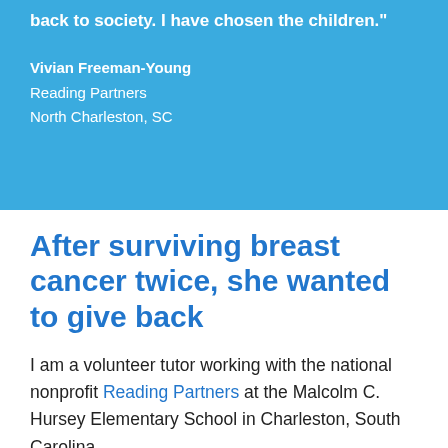back to society. I have chosen the children."
Vivian Freeman-Young
Reading Partners
North Charleston, SC
After surviving breast cancer twice, she wanted to give back
I am a volunteer tutor working with the national nonprofit Reading Partners at the Malcolm C. Hursey Elementary School in Charleston, South Carolina.